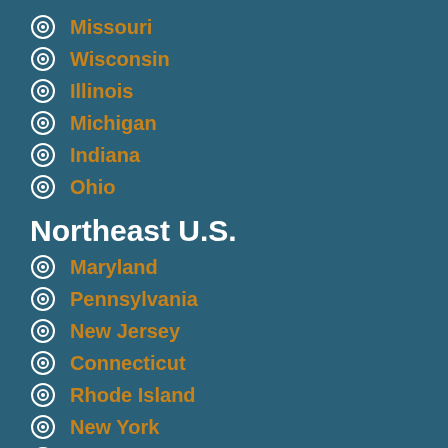Missouri
Wisconsin
Illinois
Michigan
Indiana
Ohio
Northeast U.S.
Maryland
Pennsylvania
New Jersey
Connecticut
Rhode Island
New York
Maine
New Hampshire
Vermont